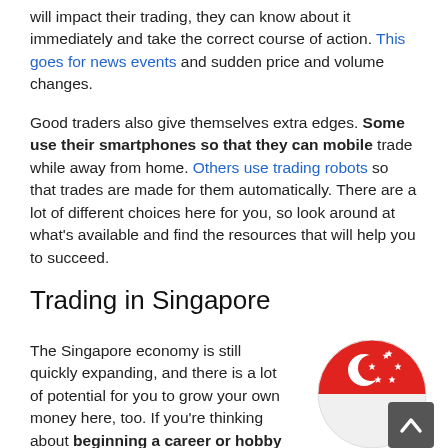will impact their trading, they can know about it immediately and take the correct course of action. This goes for news events and sudden price and volume changes.
Good traders also give themselves extra edges. Some use their smartphones so that they can mobile trade while away from home. Others use trading robots so that trades are made for them automatically. There are a lot of different choices here for you, so look around at what's available and find the resources that will help you to succeed.
Trading in Singapore
The Singapore economy is still quickly expanding, and there is a lot of potential for you to grow your own money here, too. If you're thinking about beginning a career or hobby
[Figure (illustration): Singapore flag circular icon with red top half showing white crescent moon and five white stars, and white bottom half. A dark grey scroll-to-top button with an upward chevron arrow is overlaid on the bottom-right of the circle.]